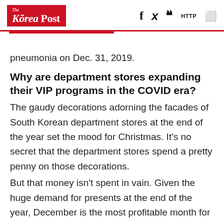The Korea Post
pneumonia on Dec. 31, 2019.
Why are department stores expanding their VIP programs in the COVID era?
The gaudy decorations adorning the facades of South Korean department stores at the end of the year set the mood for Christmas. It’s no secret that the department stores spend a pretty penny on those decorations.
But that money isn’t spent in vain. Given the huge demand for presents at the end of the year, December is the most profitable month for department stores.
That’s one reason the industry is nervous right now. If